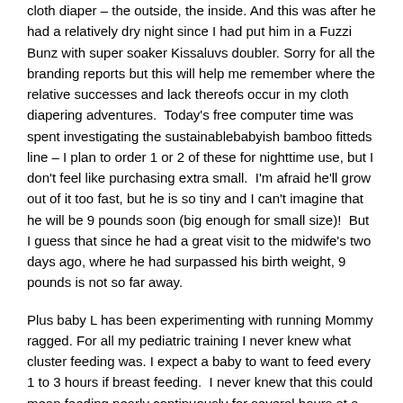cloth diaper – the outside, the inside. And this was after he had a relatively dry night since I had put him in a Fuzzi Bunz with super soaker Kissaluvs doubler. Sorry for all the branding reports but this will help me remember where the relative successes and lack thereofs occur in my cloth diapering adventures.  Today's free computer time was spent investigating the sustainablebabyish bamboo fitteds line – I plan to order 1 or 2 of these for nighttime use, but I don't feel like purchasing extra small.  I'm afraid he'll grow out of it too fast, but he is so tiny and I can't imagine that he will be 9 pounds soon (big enough for small size)!  But I guess that since he had a great visit to the midwife's two days ago, where he had surpassed his birth weight, 9 pounds is not so far away.
Plus baby L has been experimenting with running Mommy ragged. For all my pediatric training I never knew what cluster feeding was. I expect a baby to want to feed every 1 to 3 hours if breast feeding.  I never knew that this could mean feeding nearly continuously for several hours at a stretch – feed, burp, console, feed, burp,